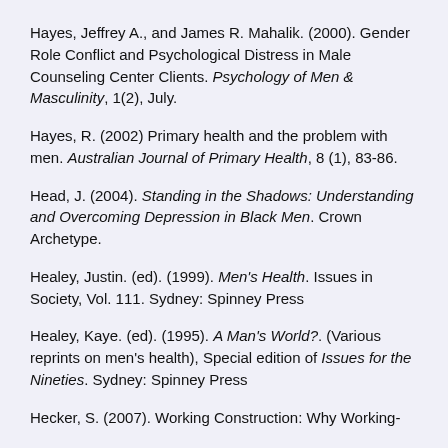Hayes, Jeffrey A., and James R. Mahalik. (2000). Gender Role Conflict and Psychological Distress in Male Counseling Center Clients. Psychology of Men & Masculinity, 1(2), July.
Hayes, R. (2002) Primary health and the problem with men. Australian Journal of Primary Health, 8 (1), 83-86.
Head, J. (2004). Standing in the Shadows: Understanding and Overcoming Depression in Black Men. Crown Archetype.
Healey, Justin. (ed). (1999). Men's Health. Issues in Society, Vol. 111. Sydney: Spinney Press
Healey, Kaye. (ed). (1995). A Man's World?. (Various reprints on men's health), Special edition of Issues for the Nineties. Sydney: Spinney Press
Hecker, S. (2007). Working Construction: Why Working-